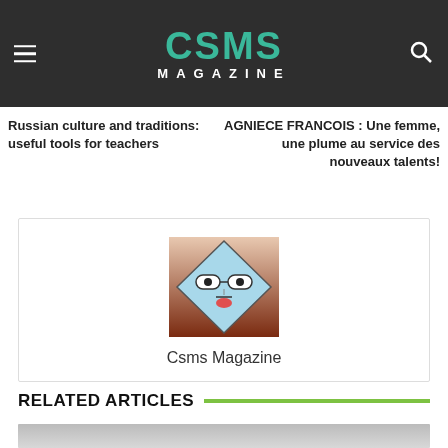CSMS MAGAZINE
Russian culture and traditions: useful tools for teachers
AGNIECE FRANCOIS : Une femme, une plume au service des nouveaux talents!
[Figure (logo): CSMS Magazine avatar logo - cartoon face diamond shaped character with glasses and tongue sticking out]
Csms Magazine
RELATED ARTICLES